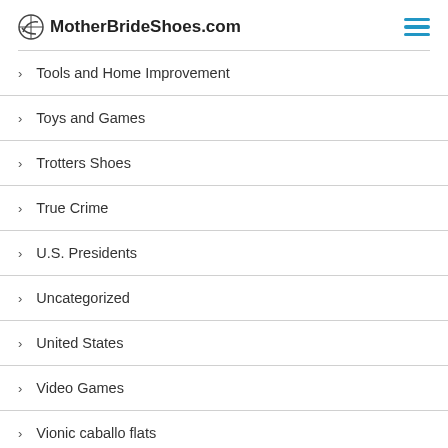MotherBrideShoes.com
Tools and Home Improvement
Toys and Games
Trotters Shoes
True Crime
U.S. Presidents
Uncategorized
United States
Video Games
Vionic caballo flats